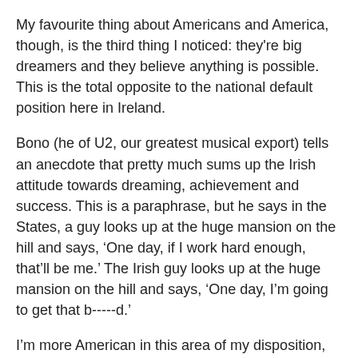My favourite thing about Americans and America, though, is the third thing I noticed: they're big dreamers and they believe anything is possible. This is the total opposite to the national default position here in Ireland.
Bono (he of U2, our greatest musical export) tells an anecdote that pretty much sums up the Irish attitude towards dreaming, achievement and success. This is a paraphrase, but he says in the States, a guy looks up at the huge mansion on the hill and says, ‘One day, if I work hard enough, that’ll be me.’ The Irish guy looks up at the huge mansion on the hill and says, ‘One day, I’m going to get that b-----d.’
I’m more American in this area of my disposition, and regular trips to Kennedy Space Centre (hugely inspiring) and the Magic Kingdom (to watch Wishes, the night time fireworks display, which reminds you that a dream is a wish your heart makes – and they do come true) only made me worse. (Or better?)